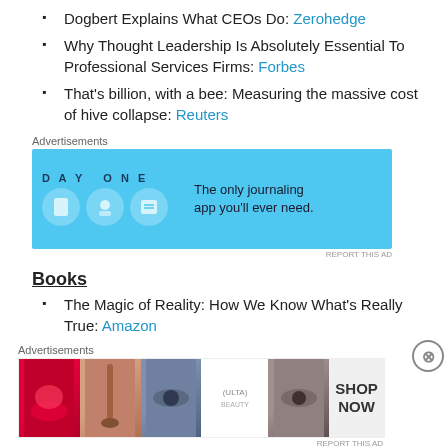Dogbert Explains What CEOs Do: Zerohedge
Why Thought Leadership Is Absolutely Essential To Professional Services Firms: Forbes
That's billion, with a bee: Measuring the massive cost of hive collapse: Reuters
[Figure (screenshot): Day One app advertisement banner. Blue background with app icons and text: 'The only journaling app you'll ever need.']
Books
The Magic of Reality: How We Know What's Really True: Amazon
Investing Process
[Figure (screenshot): Ulta Beauty advertisement banner showing makeup product images and 'SHOP NOW' text.]